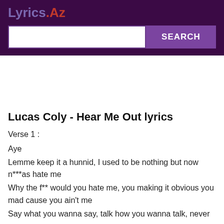Lyrics.Az
Lucas Coly - Hear Me Out lyrics
Verse 1 :
Aye
Lemme keep it a hunnid, I used to be nothing but now n***as hate me
Why the f** would you hate me, you making it obvious you mad cause you ain't me
Say what you wanna say, talk how you wanna talk, never